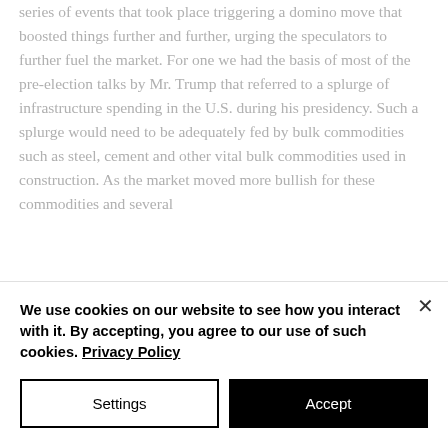series of events that took place triggering a domino move that boosted things further and further, urging the speculators to further fuel the market. For one we had the basis of most of the pre-election talks by Mr. Trump that referred to a splurge of infrastructure spending in the U.S. during his presidency. Such a splurge would need to be adequately fed by bulk commodities such as steel, cement and other vital bulk commodities used in construction. As the market moved more bullish for these commodities and several
We use cookies on our website to see how you interact with it. By accepting, you agree to our use of such cookies. Privacy Policy